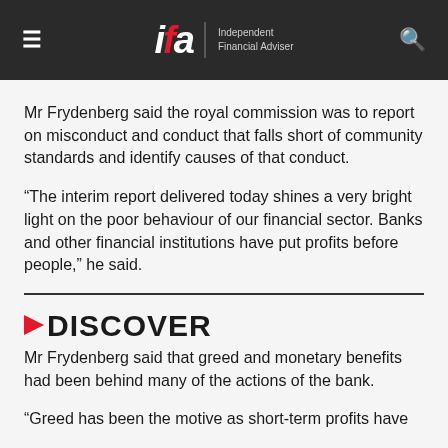ifa Independent Financial Adviser
Mr Frydenberg said the royal commission was to report on misconduct and conduct that falls short of community standards and identify causes of that conduct.
“The interim report delivered today shines a very bright light on the poor behaviour of our financial sector. Banks and other financial institutions have put profits before people,” he said.
DISCOVER
Mr Frydenberg said that greed and monetary benefits had been behind many of the actions of the bank.
“Greed has been the motive as short-term profits have